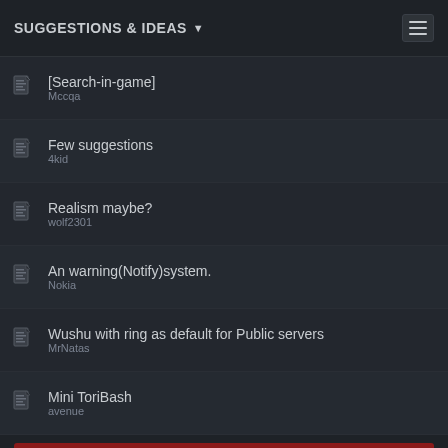SUGGESTIONS & IDEAS
[Search-in-game] — Mccqa
Few suggestions — 4kid
Realism maybe? — wolf2301
An warning(Notify)system. — Nokia
Wushu with ring as default for Public servers — MrNatas
Mini ToriBash — avenue
Mark This Forum Read
Page 191 of 197 « 91 181 189 190 191 192 193 »
Display Options (Showing threads 3801 to 3820 of 3927)
Sorted By